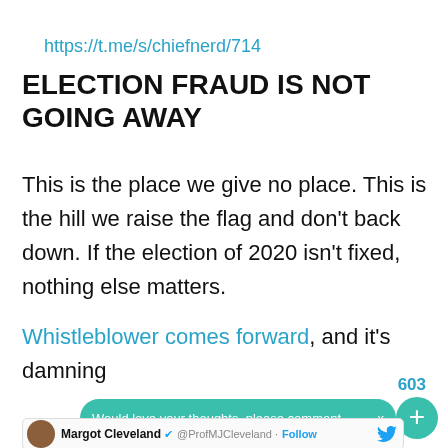https://t.me/s/chiefnerd/714
ELECTION FRAUD IS NOT GOING AWAY
This is the place we give no place. This is the hill we raise the flag and don’t back down. If the election of 2020 isn’t fixed, nothing else matters.
Whistleblower comes forward, and it's damning
603
Would love your thoughts, please comment.
Margot Cleveland @ProfMJCleveland · Follow